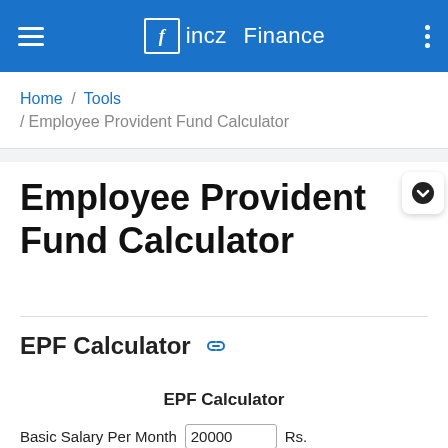fincz Finance
Home / Tools / Employee Provident Fund Calculator
Employee Provident Fund Calculator
EPF Calculator
EPF Calculator
Basic Salary Per Month 20000 Rs.